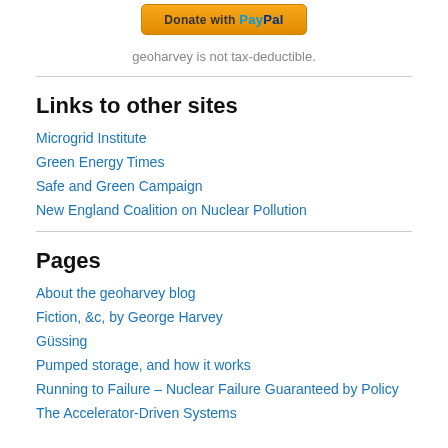[Figure (other): PayPal Donate button]
geoharvey is not tax-deductible.
Links to other sites
Microgrid Institute
Green Energy Times
Safe and Green Campaign
New England Coalition on Nuclear Pollution
Pages
About the geoharvey blog
Fiction, &c, by George Harvey
Güssing
Pumped storage, and how it works
Running to Failure – Nuclear Failure Guaranteed by Policy
The Accelerator-Driven Systems